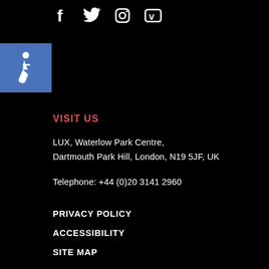[Figure (other): Social media icons: Facebook (f), Twitter (bird), Instagram (camera), Vimeo (v) — white icons on black background]
[Figure (other): Accessibility icon — white wheelchair symbol on blue square background]
VISIT US
LUX, Waterlow Park Centre,
Dartmouth Park Hill, London, N19 5JF, UK
Telephone: +44 (0)20 3141 2960
PRIVACY POLICY
ACCESSIBILITY
SITE MAP
Sign up to our newswire to stay up to date with